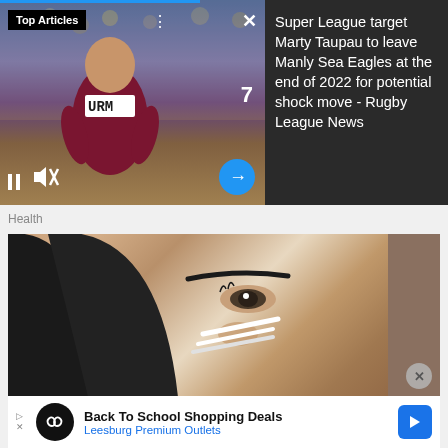[Figure (screenshot): Top Articles video banner showing rugby player in Manly Sea Eagles jersey with URM text, video controls (pause, mute), forward arrow button, and close/dots controls]
Super League target Marty Taupau to leave Manly Sea Eagles at the end of 2022 for potential shock move - Rugby League News
Health
[Figure (photo): Close-up photo of a young woman with dark hair applying a nasal device/strip to her nose]
Back To School Shopping Deals Leesburg Premium Outlets